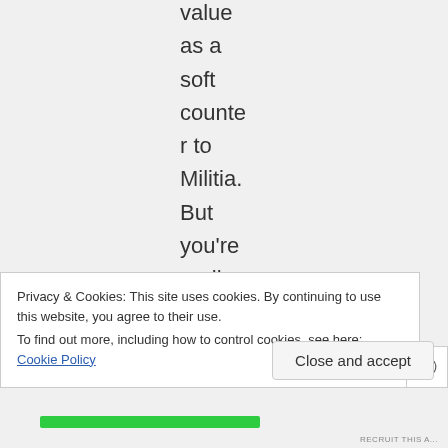value as a soft counter to Militia. But you're really failing to
Privacy & Cookies: This site uses cookies. By continuing to use this website, you agree to their use.
To find out more, including how to control cookies, see here: Cookie Policy